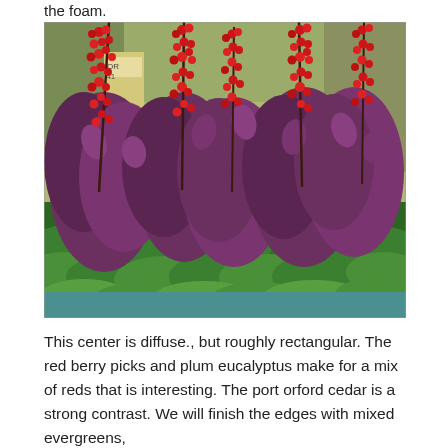the foam.
[Figure (photo): A floral arrangement featuring tall red berry picks and plum/dark purple eucalyptus foliage rising above a bed of bright green port orford cedar branches, displayed on a table in what appears to be a floral shop or greenhouse.]
This center is diffuse., but roughly rectangular. The red berry picks and plum eucalyptus make for a mix of reds that is interesting.  The port orford cedar is a strong contrast.  We will finish the edges with mixed evergreens,